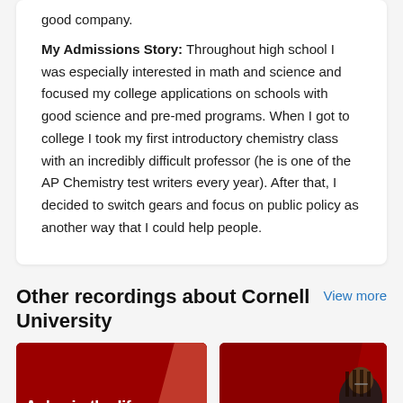good company.
My Admissions Story: Throughout high school I was especially interested in math and science and focused my college applications on schools with good science and pre-med programs. When I got to college I took my first introductory chemistry class with an incredibly difficult professor (he is one of the AP Chemistry test writers every year). After that, I decided to switch gears and focus on public policy as another way that I could help people.
Other recordings about Cornell University
View more
[Figure (photo): Red thumbnail card with text 'A day in the life' on dark red background with diagonal accent]
[Figure (photo): Red thumbnail card with text 'My admiss' partially visible, showing a person with braids wearing glasses]